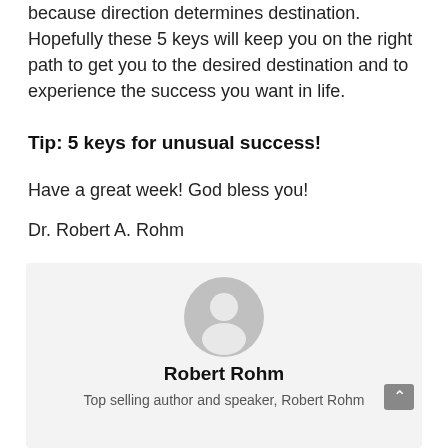because direction determines destination. Hopefully these 5 keys will keep you on the right path to get you to the desired destination and to experience the success you want in life.
Tip:  5 keys for unusual success!
Have a great week!  God bless you!
Dr. Robert A. Rohm
[Figure (illustration): Author card with a generic gray avatar icon, author name 'Robert Rohm' in bold, and bio text 'Top selling author and speaker, Robert Rohm Ph.D...']
Robert Rohm
Top selling author and speaker, Robert Rohm